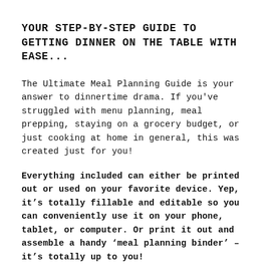YOUR STEP-BY-STEP GUIDE TO GETTING DINNER ON THE TABLE WITH EASE...
The Ultimate Meal Planning Guide is your answer to dinnertime drama. If you've struggled with menu planning, meal prepping, staying on a grocery budget, or just cooking at home in general, this was created just for you!
Everything included can either be printed out or used on your favorite device. Yep, it’s totally fillable and editable so you can conveniently use it on your phone, tablet, or computer. Or print it out and assemble a handy ‘meal planning binder’ – it’s totally up to you!